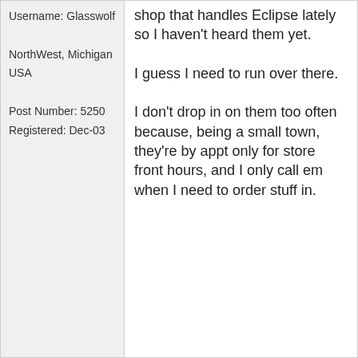Username: Glasswolf
NorthWest, Michigan USA
Post Number: 5250
Registered: Dec-03
shop that handles Eclipse lately so I haven't heard them yet.
I guess I need to run over there.
I don't drop in on them too often because, being a small town, they're by appt only for store front hours, and I only call em when I need to order stuff in.
erik
Silver Member
Username: Erik123456
Arlington, Tx
Post Number: 190
Posted on Thursday, October 28, 2004 - 22:16 GMT
the eclipse components the 8264's i think is the # look cool and they are decently priced as far as good components